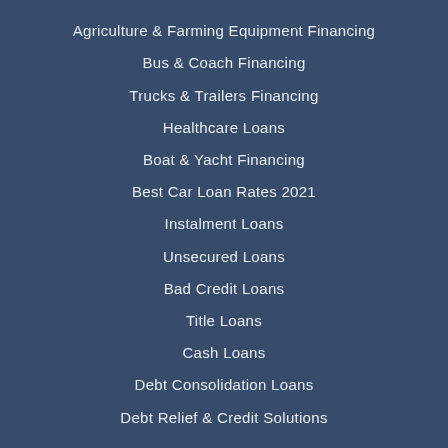Agriculture & Farming Equipment Financing
Bus & Coach Financing
Trucks & Trailers Financing
Healthcare Loans
Boat & Yacht Financing
Best Car Loan Rates 2021
Instalment Loans
Unsecured Loans
Bad Credit Loans
Title Loans
Cash Loans
Debt Consolidation Loans
Debt Relief & Credit Solutions